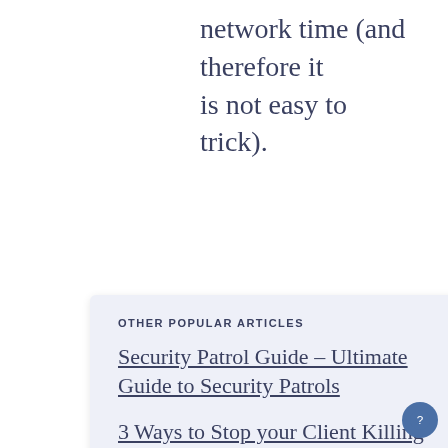network time (and therefore it is not easy to trick).
OTHER POPULAR ARTICLES
Security Patrol Guide – Ultimate Guide to Security Patrols
3 Ways to Stop your Client Killing your Profit Margin
Daily Occurrence Book Report: A Guide on what to Report